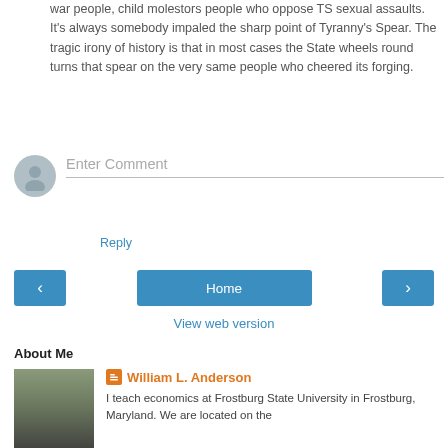war people, child molestors people who oppose TS sexual assaults. It's always somebody impaled the sharp point of Tyranny's Spear. The tragic irony of history is that in most cases the State wheels round turns that spear on the very same people who cheered its forging.
Reply
Enter Comment
Home
View web version
About Me
William L. Anderson
I teach economics at Frostburg State University in Frostburg, Maryland. We are located on the